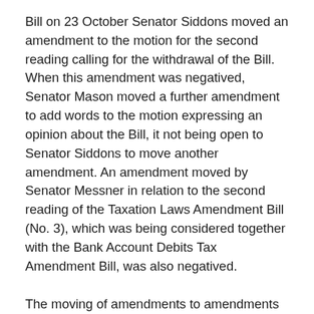Bill on 23 October Senator Siddons moved an amendment to the motion for the second reading calling for the withdrawal of the Bill. When this amendment was negatived, Senator Mason moved a further amendment to add words to the motion expressing an opinion about the Bill, it not being open to Senator Siddons to move another amendment. An amendment moved by Senator Messner in relation to the second reading of the Taxation Laws Amendment Bill (No. 3), which was being considered together with the Bank Account Debits Tax Amendment Bill, was also negatived.
The moving of amendments to amendments sometimes confuses observers of parliamentary proceedings and is the subject of some humour in the chamber. It is not generally realised that the device of moving amendments to amendments, as a means of dealing with more than two different propositions while keeping only one matter before the chamber at a time, is one of the great inventions of civilisation and absolutely essential to the proper functioning